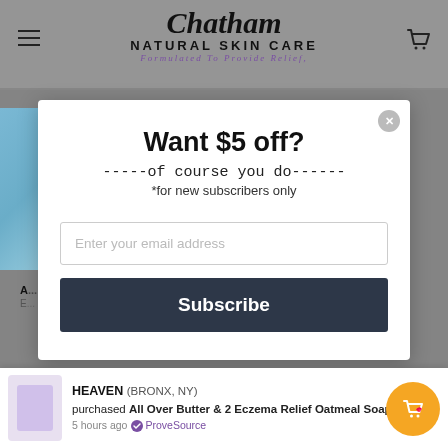[Figure (screenshot): Chatham Natural Skin Care website header with logo, hamburger menu, and shopping cart icon on grey background]
[Figure (screenshot): Modal popup with '$5 off' subscription offer on white background with email input and Subscribe button]
Want $5 off?
-----of course you do------
*for new subscribers only
Enter your email address
Subscribe
HEAVEN (BRONX, NY) purchased All Over Butter & 2 Eczema Relief Oatmeal Soaps 5 hours ago ProveSource